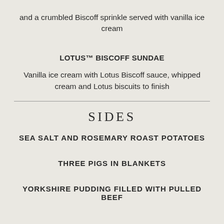and a crumbled Biscoff sprinkle served with vanilla ice cream
LOTUS™ BISCOFF SUNDAE
Vanilla ice cream with Lotus Biscoff sauce, whipped cream and Lotus biscuits to finish
SIDES
SEA SALT AND ROSEMARY ROAST POTATOES
THREE PIGS IN BLANKETS
YORKSHIRE PUDDING FILLED WITH PULLED BEEF